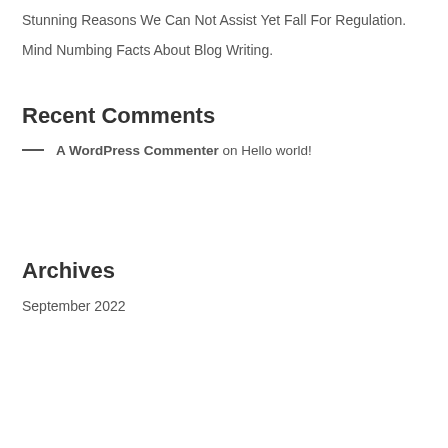Stunning Reasons We Can Not Assist Yet Fall For Regulation.
Mind Numbing Facts About Blog Writing.
Recent Comments
— A WordPress Commenter on Hello world!
Archives
September 2022